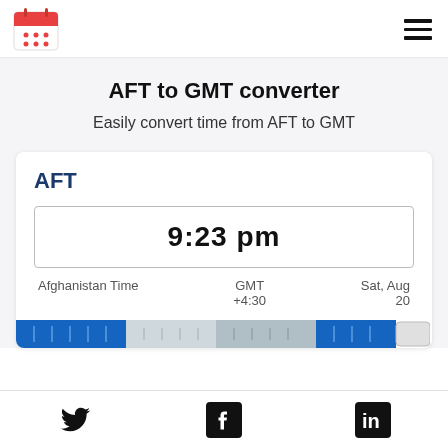[Figure (logo): Calendar emoji/icon — red header with tick marks, white body with red dots grid]
[Figure (other): Hamburger menu icon — three horizontal black lines]
AFT to GMT converter
Easily convert time from AFT to GMT
AFT
9:23 pm
Afghanistan Time
GMT +4:30
Sat, Aug 20
[Figure (other): Twitter bird icon]
[Figure (other): Facebook f icon in black square]
[Figure (other): LinkedIn in icon in black square]